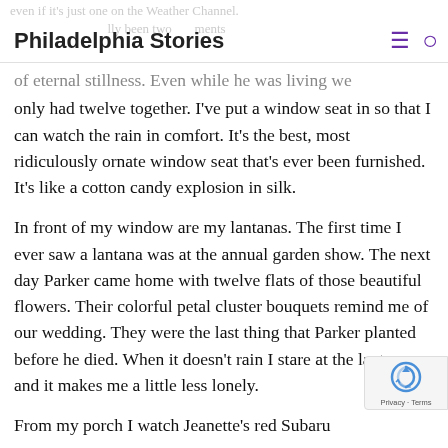Philadelphia Stories
even if it’s just one on the Weather Channel. there had already been two moments of eternal stillness. Even while he was living we only had twelve together. I’ve put a window seat in so that I can watch the rain in comfort. It’s the best, most ridiculously ornate window seat that’s ever been furnished. It’s like a cotton candy explosion in silk.
In front of my window are my lantanas. The first time I ever saw a lantana was at the annual garden show. The next day Parker came home with twelve flats of those beautiful flowers. Their colorful petal cluster bouquets remind me of our wedding. They were the last thing that Parker planted before he died. When it doesn’t rain I stare at the lantana, and it makes me a little less lonely.
From my porch I watch Jeanette’s red Subaru